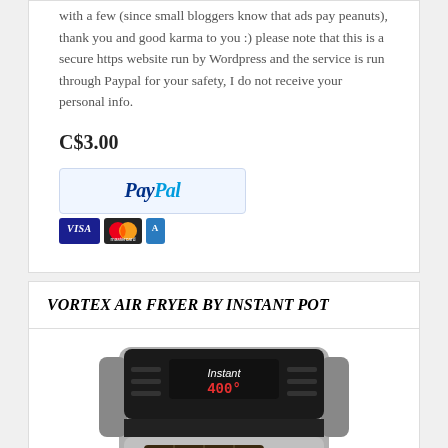with a few (since small bloggers know that ads pay peanuts), thank you and good karma to you :) please note that this is a secure https website run by Wordpress and the service is run through Paypal for your safety, I do not receive your personal info.
C$3.00
[Figure (logo): PayPal payment button with Visa and Mastercard icons below]
VORTEX AIR FRYER BY INSTANT POT
[Figure (photo): Instant Vortex Air Fryer by Instant Pot, stainless steel appliance with digital display showing 400 degrees]